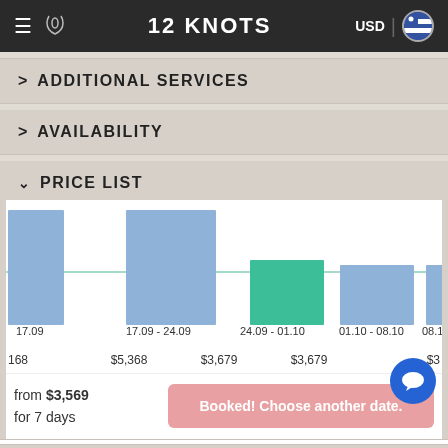12 KNOTS | USD
> ADDITIONAL SERVICES
> AVAILABILITY
v PRICE LIST
[Figure (bar-chart): Price List Chart]
from $3,569 for 7 days
Booked! Choose another date.
v MAP